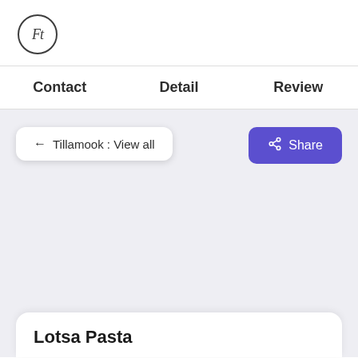[Figure (logo): Circular logo with Ft text in italic serif font]
Contact   Detail   Review
← Tillamook : View all
Share
Lotsa Pasta